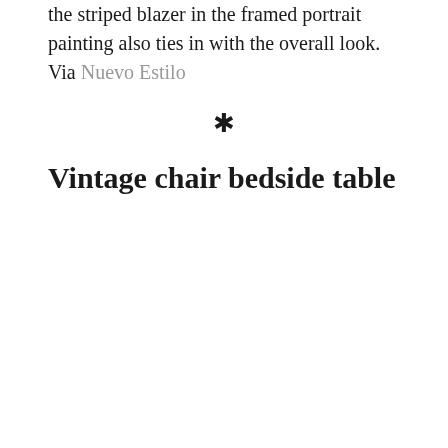the striped blazer in the framed portrait painting also ties in with the overall look. Via Nuevo Estilo
✳
Vintage chair bedside table